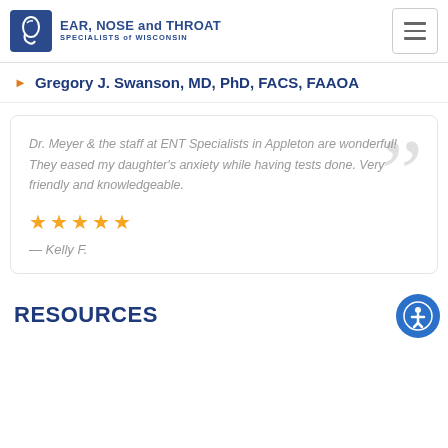[Figure (logo): Ear, Nose and Throat Specialists of Wisconsin logo with blue square icon and text]
Gregory J. Swanson, MD, PhD, FACS, FAAOA
Dr. Meyer & the staff at ENT Specialists in Appleton are wonderful! They eased my daughter's anxiety while having tests done. Very friendly and knowledgeable.
★★★★★
— Kelly F.
RESOURCES